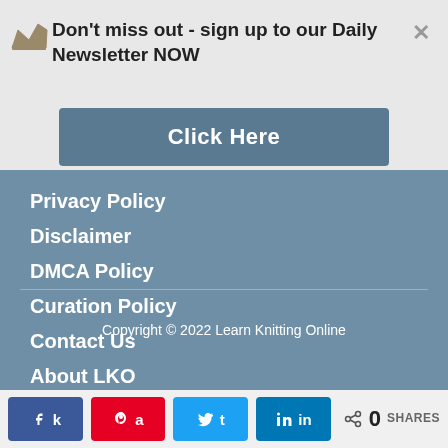Don't miss out - sign up to our Daily Newsletter NOW
Click Here
Privacy Policy
Disclaimer
DMCA Policy
Curation Policy
Contact Us
About LKO
Copyright © 2022 Learn Knitting Online
k  a  t  in  <  0  SHARES